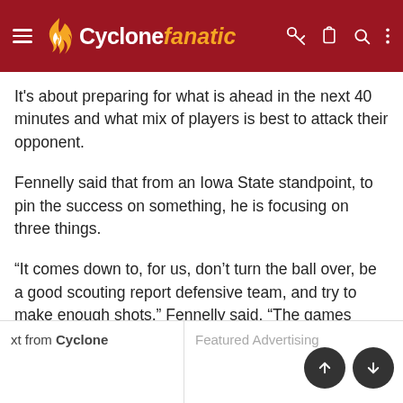Cyclone fanatic
It's about preparing for what is ahead in the next 40 minutes and what mix of players is best to attack their opponent.
Fennelly said that from an Iowa State standpoint, to pin the success on something, he is focusing on three things.
“It comes down to, for us, don’t turn the ball over, be a good scouting report defensive team, and try to make enough shots,” Fennelly said. “The games we’ve won, I think that was the formula. The games we’ve lost, one of those things has not gone well or more and the results speak for themselves.”
xt from Cyclone
Featured Advertising